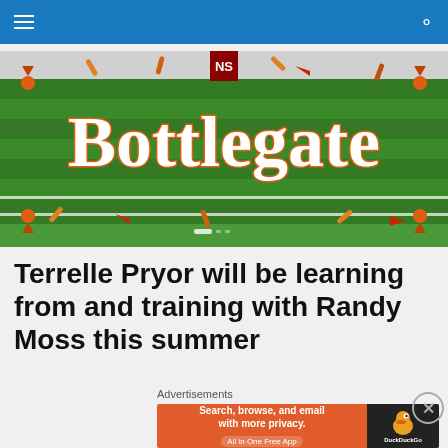Navigation bar with menu and search icons
[Figure (illustration): Bottlegate banner image — script lettering 'Bottlegate' in orange/white on green football field background with scattered bottle and pennant graphics]
Terrelle Pryor will be learning from and training with Randy Moss this summer
Advertisements
[Figure (screenshot): DuckDuckGo advertisement banner: 'Search, browse, and email with more privacy. All in One Free App' with DuckDuckGo duck logo on dark background]